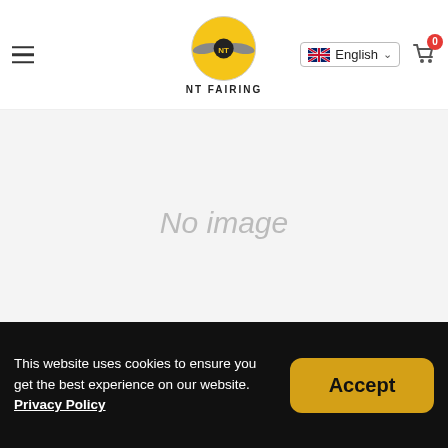NT FAIRING — English — Cart 0
[Figure (other): No image placeholder — light grey rectangle with italic 'No image' text in grey]
Balance Payment for Custom Fairing Kit
£255.00
This website uses cookies to ensure you get the best experience on our website. Privacy Policy
Accept